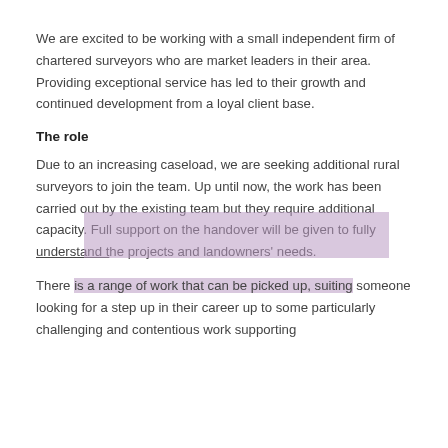We are excited to be working with a small independent firm of chartered surveyors who are market leaders in their area. Providing exceptional service has led to their growth and continued development from a loyal client base.
The role
Due to an increasing caseload, we are seeking additional rural surveyors to join the team. Up until now, the work has been carried out by the existing team but they require additional capacity. Full support on the handover will be given to fully understand the projects and landowners' needs.
There is a range of work that can be picked up, suiting someone looking for a step up in their career up to some particularly challenging and contentious work supporting